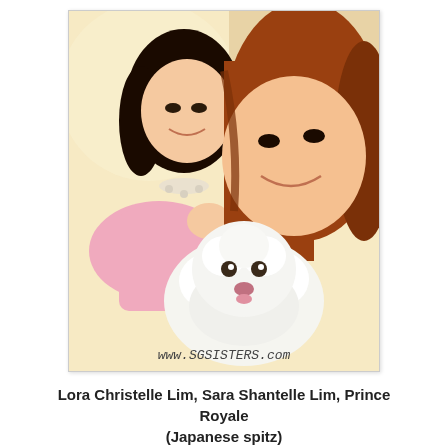[Figure (photo): Two young Asian women smiling with a white fluffy Japanese Spitz dog between them. The woman on the left wears pink and has a crystal necklace; the woman on the right has reddish-brown hair. The photo has a warm, overexposed look. A watermark at the bottom reads 'www.SGSISTERS.com'.]
Lora Christelle Lim, Sara Shantelle Lim, Prince Royale (Japanese spitz)